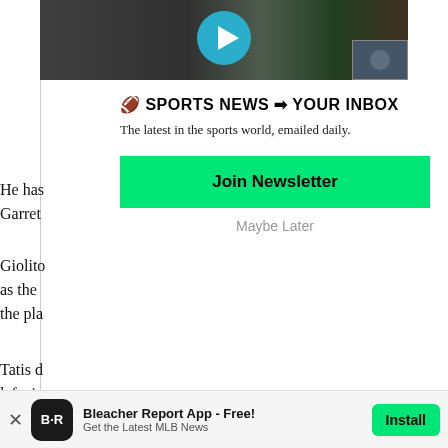[Figure (screenshot): Video thumbnail strip showing baseball stadium footage with a blue play button circle in the center and a small inset thumbnail in the bottom right corner]
🏈 SPORTS NEWS ➡ YOUR INBOX
The latest in the sports world, emailed daily.
Join Newsletter
Maybe Later
He has
Garret
Giolito
as the
the pla
Tatis d
left sic
Bleacher Report App - Free!
Get the Latest MLB News